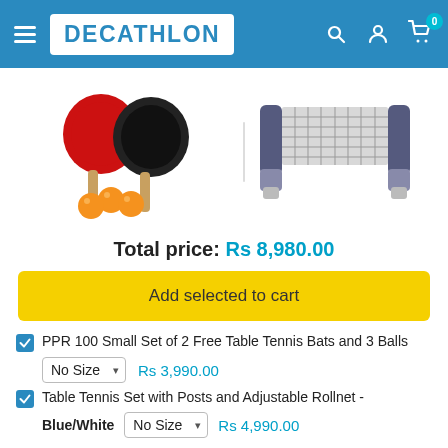DECATHLON
[Figure (photo): Two table tennis bats (red and black) with three orange balls, and a retractable table tennis net set with blue/grey posts and white base]
Total price: Rs 8,980.00
Add selected to cart
PPR 100 Small Set of 2 Free Table Tennis Bats and 3 Balls — No Size — Rs 3,990.00
Table Tennis Set with Posts and Adjustable Rollnet - Blue/White — No Size — Rs 4,990.00